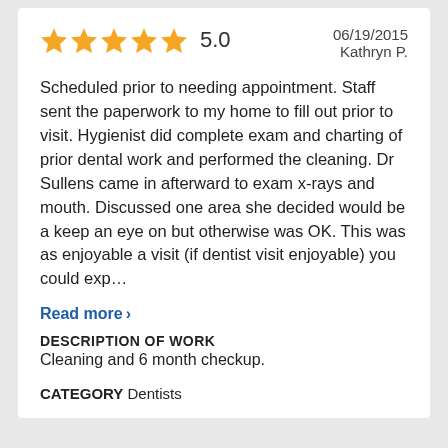5.0   06/19/2015
Kathryn P.
Scheduled prior to needing appointment. Staff sent the paperwork to my home to fill out prior to visit. Hygienist did complete exam and charting of prior dental work and performed the cleaning. Dr Sullens came in afterward to exam x-rays and mouth. Discussed one area she decided would be a keep an eye on but otherwise was OK. This was as enjoyable a visit (if dentist visit enjoyable) you could exp...
Read more >
DESCRIPTION OF WORK
Cleaning and 6 month checkup.
CATEGORY Dentists